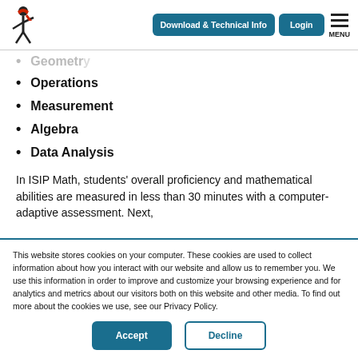Download & Technical Info | Login | MENU
Geometry (faded/partial)
Operations
Measurement
Algebra
Data Analysis
In ISIP Math, students' overall proficiency and mathematical abilities are measured in less than 30 minutes with a computer-adaptive assessment. Next,
This website stores cookies on your computer. These cookies are used to collect information about how you interact with our website and allow us to remember you. We use this information in order to improve and customize your browsing experience and for analytics and metrics about our visitors both on this website and other media. To find out more about the cookies we use, see our Privacy Policy.